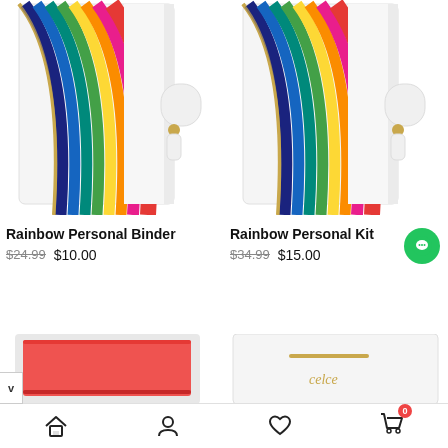[Figure (photo): Rainbow Personal Binder product image — white binder with colorful rainbow stripe and gold clasp]
[Figure (photo): Rainbow Personal Kit product image — white binder with colorful rainbow stripe and gold clasp]
Rainbow Personal Binder
$24.99  $10.00
Rainbow Personal Kit
$34.99  $15.00
[Figure (photo): Partially visible red product at bottom left]
[Figure (photo): Partially visible white/gold product at bottom right with text 'celce']
Home | Profile | Wishlist | Cart (0)